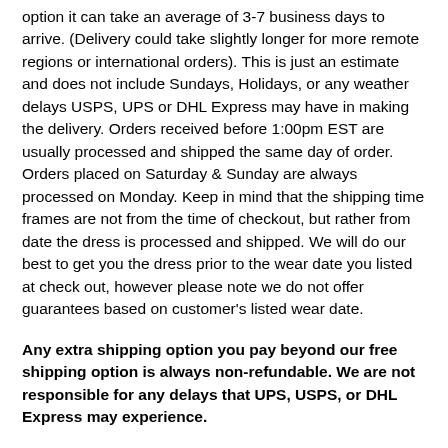option it can take an average of 3-7 business days to arrive. (Delivery could take slightly longer for more remote regions or international orders). This is just an estimate and does not include Sundays, Holidays, or any weather delays USPS, UPS or DHL Express may have in making the delivery. Orders received before 1:00pm EST are usually processed and shipped the same day of order. Orders placed on Saturday & Sunday are always processed on Monday. Keep in mind that the shipping time frames are not from the time of checkout, but rather from date the dress is processed and shipped. We will do our best to get you the dress prior to the wear date you listed at check out, however please note we do not offer guarantees based on customer's listed wear date.
Any extra shipping option you pay beyond our free shipping option is always non-refundable. We are not responsible for any delays that UPS, USPS, or DHL Express may experience.